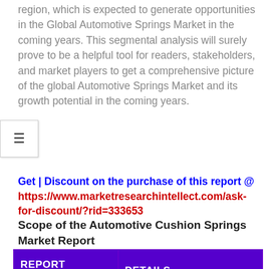region, which is expected to generate opportunities in the Global Automotive Springs Market in the coming years. This segmental analysis will surely prove to be a helpful tool for readers, stakeholders, and market players to get a comprehensive picture of the global Automotive Springs Market and its growth potential in the coming years.
Get | Discount on the purchase of this report @ https://www.marketresearchintellect.com/ask-for-discount/?rid=333653
Scope of the Automotive Cushion Springs Market Report
| REPORT ATTRIBUTE | DETAILS |
| --- | --- |
| Market size |  |